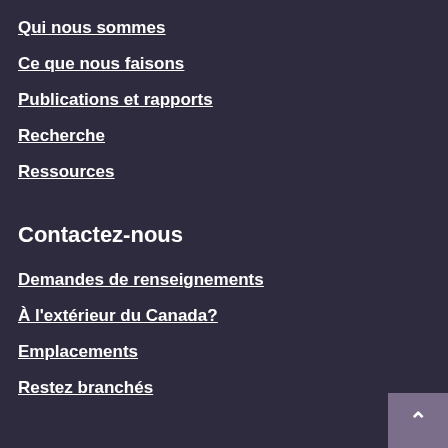Qui nous sommes
Ce que nous faisons
Publications et rapports
Recherche
Ressources
Contactez-nous
Demandes de renseignements
À l'extérieur du Canada?
Emplacements
Restez branchés